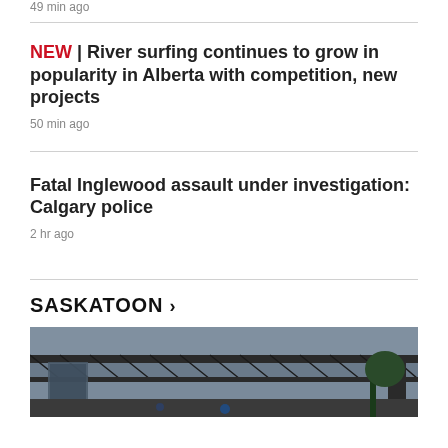49 min ago
NEW | River surfing continues to grow in popularity in Alberta with competition, new projects
50 min ago
Fatal Inglewood assault under investigation: Calgary police
2 hr ago
SASKATOON >
[Figure (photo): Outdoor stage structure with metal truss and rigging under an overcast sky]